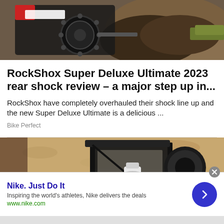[Figure (photo): Mountain bike rear shock/drivetrain close-up on dirt trail with mulch and grass in background]
RockShox Super Deluxe Ultimate 2023 rear shock review – a major step up in...
RockShox have completely overhauled their shock line up and the new Super Deluxe Ultimate is a delicious ...
Bike Perfect
[Figure (photo): Outdoor wall lantern with a milk bottle placed inside it, mounted on a textured stucco wall]
Nike. Just Do It
Inspiring the world's athletes, Nike delivers the deals
www.nike.com